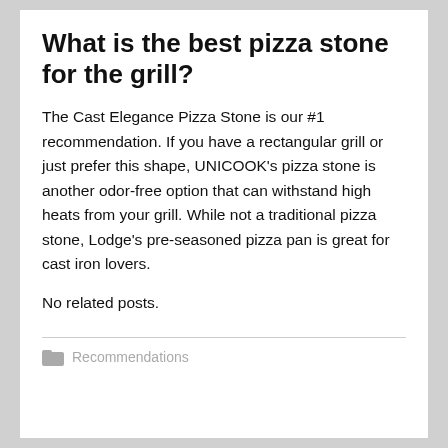What is the best pizza stone for the grill?
The Cast Elegance Pizza Stone is our #1 recommendation. If you have a rectangular grill or just prefer this shape, UNICOOK's pizza stone is another odor-free option that can withstand high heats from your grill. While not a traditional pizza stone, Lodge's pre-seasoned pizza pan is great for cast iron lovers.
No related posts.
Recommendations